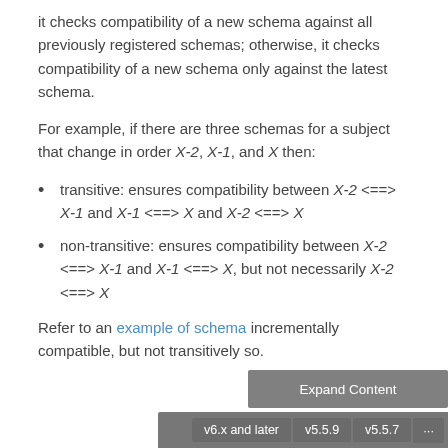it checks compatibility of a new schema against all previously registered schemas; otherwise, it checks compatibility of a new schema only against the latest schema.
For example, if there are three schemas for a subject that change in order X-2, X-1, and X then:
transitive: ensures compatibility between X-2 <==> X-1 and X-1 <==> X and X-2 <==> X
non-transitive: ensures compatibility between X-2 <==> X-1 and X-1 <==> X, but not necessarily X-2 <==> X
Refer to an example of schema incrementally compatible, but not transitively so.